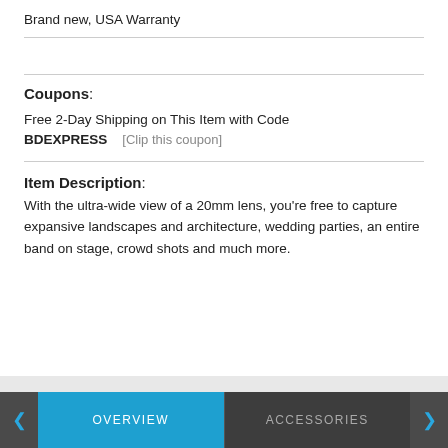Brand new, USA Warranty
Coupons:
Free 2-Day Shipping on This Item with Code BDEXPRESS    [Clip this coupon]
Item Description:
With the ultra-wide view of a 20mm lens, you’re free to capture expansive landscapes and architecture, wedding parties, an entire band on stage, crowd shots and much more.
OVERVIEW    ACCESSORIES